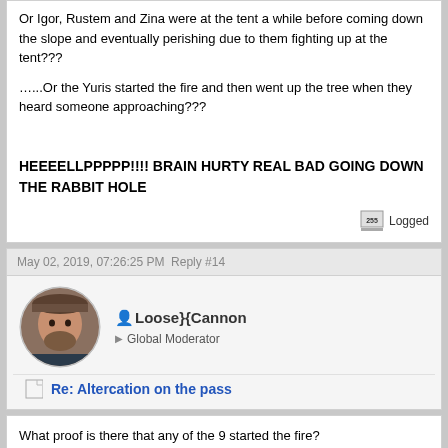Or Igor, Rustem and Zina were at the tent a while before coming down the slope and eventually perishing due to them fighting up at the tent???
…...Or the Yuris started the fire and then went up the tree when they heard someone approaching???
HEEEELLPPPPP!!!! BRAIN HURTY REAL BAD GOING DOWN THE RABBIT HOLE
Logged
May 02, 2019, 07:26:25 PM Reply #14
Loose}{Cannon
Global Moderator
Re: Altercation on the pass
What proof is there that any of the 9 started the fire?
Logged